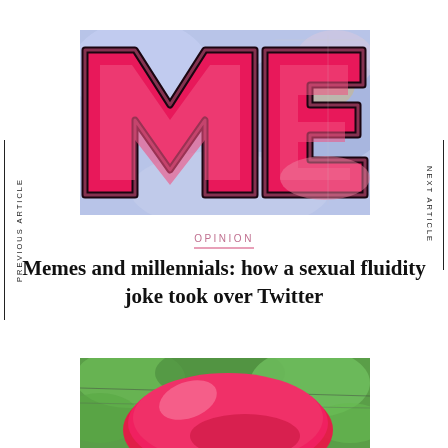[Figure (photo): Graffiti art on a wall featuring large pink and red stylized letters 'ME' on a blue/purple background]
PREVIOUS ARTICLE
NEXT ARTICLE
OPINION
Memes and millennials: how a sexual fluidity joke took over Twitter
[Figure (photo): A large bright pink/red balloon or inflatable object hanging outdoors against a green leafy background]